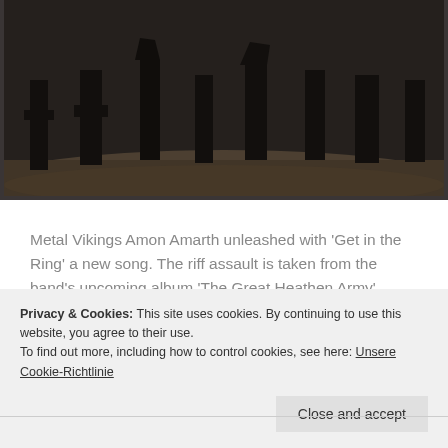[Figure (photo): Dark photo showing silhouettes of people (Viking warriors) standing on muddy ground, seen from about knee height down, dark atmospheric scene]
Metal Vikings Amon Amarth unleashed with 'Get in the Ring' a new song. The riff assault is taken from the band's upcoming album 'The Great Heathen Army' which will be released on August 5th, via Metal Blade Records. Speaking on the announcement of their new album, Amon Amarth vocalist, Johan Hegg shares: "Overall 'The Great...
Privacy & Cookies: This site uses cookies. By continuing to use this website, you agree to their use.
To find out more, including how to control cookies, see here: Unsere Cookie-Richtlinie